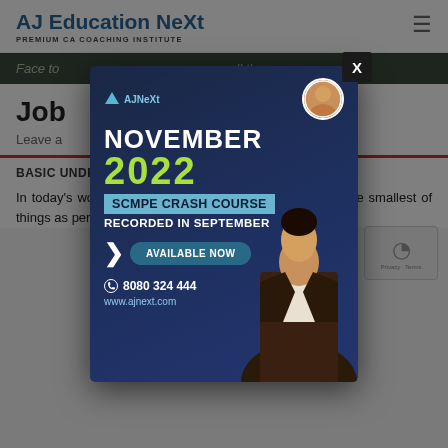AJ Education NeXt
PREMIUM CA COACHING INSTITUTE
Face to ... all the
Job ...
Leave a ...
BASIC UNDERSTANDING -
In today's world where every single person wants even the smallest of things as per
[Figure (infographic): Modal advertisement popup for AJ Education NeXt: November 2022 SCMPE Crash Course Recorded in September, Available Now. Phone: 8080 324 444, website: www.ajnext.com. Shows instructor photo on right side. Close X button in top-right corner.]